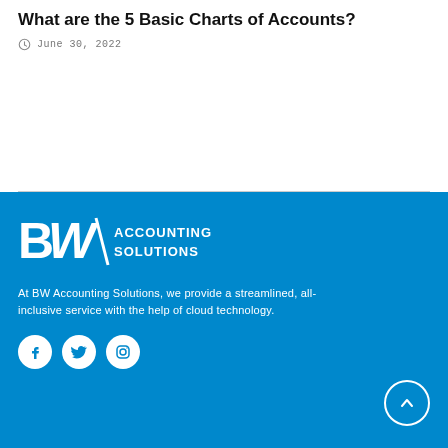What are the 5 Basic Charts of Accounts?
June 30, 2022
[Figure (logo): BW Accounting Solutions logo in white on blue background]
At BW Accounting Solutions, we provide a streamlined, all-inclusive service with the help of cloud technology.
[Figure (illustration): Social media icons: Facebook, Twitter, Instagram circles in white, plus an up-arrow circle button]